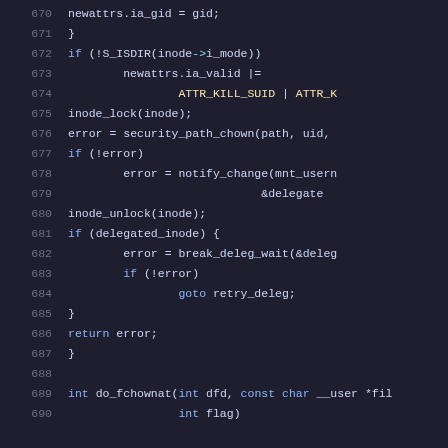[Figure (screenshot): Source code snippet showing C kernel code lines 670-690, syntax highlighted on dark background. Lines include newattrs.ia_gid assignment, S_ISDIR check, inode_lock/unlock calls, security_path_chown, notify_change, break_deleg_wait, goto retry_deleg, return error, closing braces, and do_fchownat function signature.]